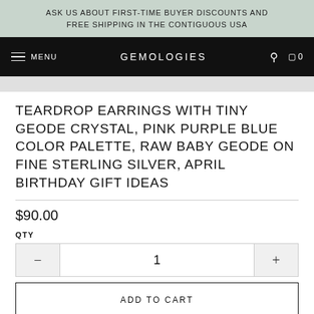ASK US ABOUT FIRST-TIME BUYER DISCOUNTS AND FREE SHIPPING IN THE CONTIGUOUS USA
MENU  GEMOLOGIES  0
TEARDROP EARRINGS WITH TINY GEODE CRYSTAL, PINK PURPLE BLUE COLOR PALETTE, RAW BABY GEODE ON FINE STERLING SILVER, APRIL BIRTHDAY GIFT IDEAS
$90.00
QTY
1
ADD TO CART